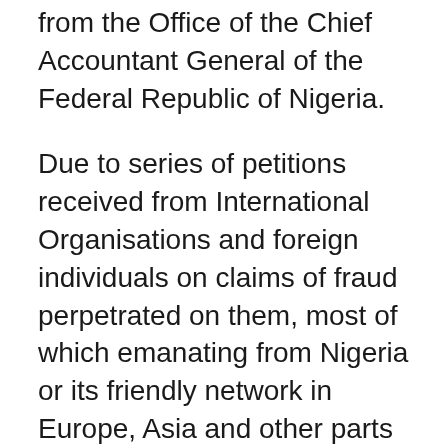from the Office of the Chief Accountant General of the Federal Republic of Nigeria.
Due to series of petitions received from International Organisations and foreign individuals on claims of fraud perpetrated on them, most of which emanating from Nigeria or its friendly network in Europe, Asia and other parts of Africa, taking over all or part of the entire life savings of their victims, the Governor of Central Bank of Nigeria and my Office representing the Federal Government of Nigeria have had series of meetings with the Secretary-General to the United Nations, Mr. Ban Ki-moon. This meeting has been holding for nearly 3 months now, but ended a few days ago with an objective of compensating selected fraud victims, whose